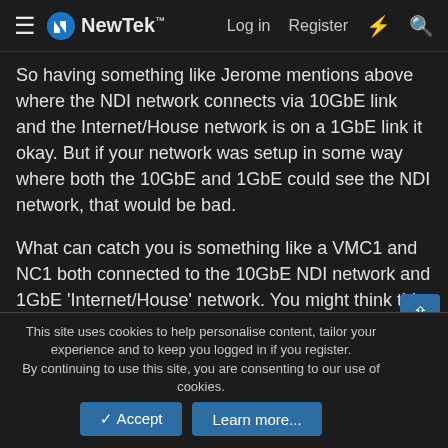NewTek — Log in  Register
So having something like Jerome mentions above where the NDI network connects via 10GbE link and the Internet/House network is on a 1GbE link it okay. But if your network was setup in some way where both the 10GbE and 1GbE could see the NDI network, that would be bad.
What can catch you is something like a VMC1 and NC1 both connected to the 10GbE NDI network and 1GbE 'Internet/House' network. You might think this is okay, but the NDI source can be seen on both networks (each system is connected to both networks, so either network can transfer NDI data), which is going to cause the issue I'm describing unless additional steps are taken to make sure NDI isn't transferred over the 'Internet/House' network.
This site uses cookies to help personalise content, tailor your experience and to keep you logged in if you register.
By continuing to use this site, you are consenting to our use of cookies.